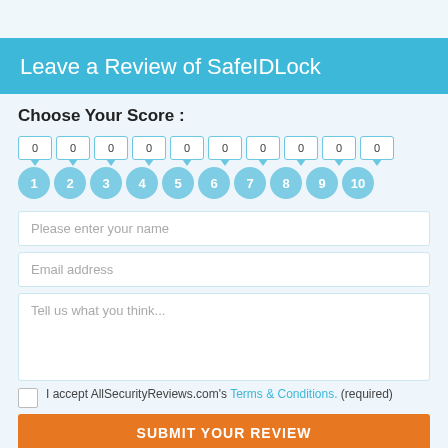Leave a Review of SafeIDLock
Choose Your Score :
[Figure (infographic): A row of 10 tooltip boxes each showing '0', with downward-pointing triangles, above a row of 10 teal circle buttons numbered 1 through 10]
Please enter your name
Email address
Tell us what you think...
I accept AllSecurityReviews.com's Terms & Conditions. (required)
SUBMIT YOUR REVIEW